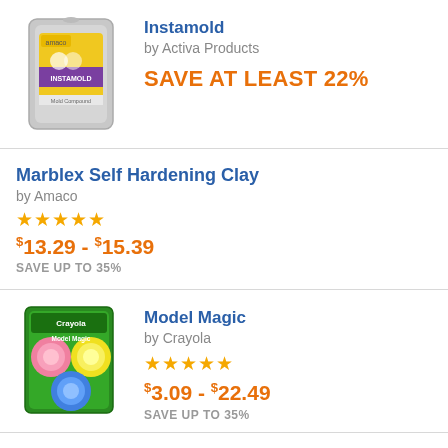[Figure (photo): Instamold product package — silver resealable bag with yellow and purple label]
Instamold
by Activa Products
SAVE AT LEAST 22%
Marblex Self Hardening Clay
by Amaco
★★★★★
$13.29 - $15.39
SAVE UP TO 35%
[Figure (photo): Model Magic product package — Crayola colorful clay discs in green packaging]
Model Magic
by Crayola
★★★★★
$3.09 - $22.49
SAVE UP TO 35%